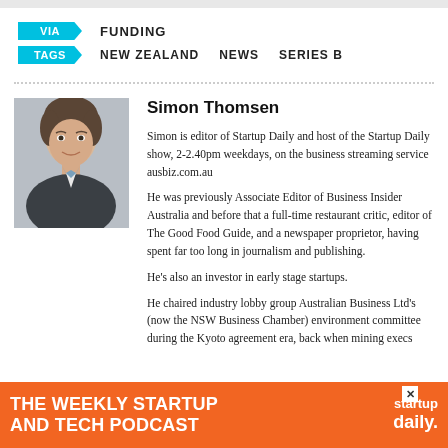VIA   FUNDING
TAGS   NEW ZEALAND   NEWS   SERIES B
Simon Thomsen
Simon is editor of Startup Daily and host of the Startup Daily show, 2-2.40pm weekdays, on the business streaming service ausbiz.com.au
He was previously Associate Editor of Business Insider Australia and before that a full-time restaurant critic, editor of The Good Food Guide, and a newspaper proprietor, having spent far too long in journalism and publishing.
He's also an investor in early stage startups.
He chaired industry lobby group Australian Business Ltd's (now the NSW Business Chamber) environment committee during the Kyoto agreement era, back when mining execs
[Figure (infographic): Orange banner advertisement: THE WEEKLY STARTUP AND TECH PODCAST with startup daily. logo on right, X close button top right]